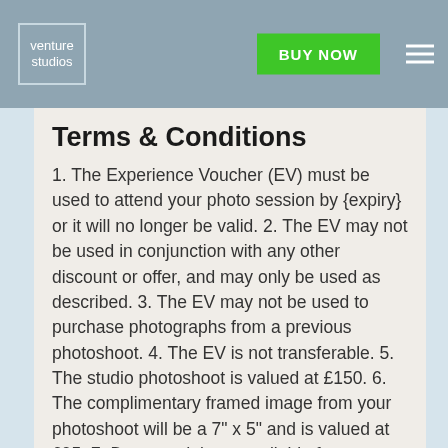venture studios | BUY NOW
Terms & Conditions
1. The Experience Voucher (EV) must be used to attend your photo session by {expiry} or it will no longer be valid. 2. The EV may not be used in conjunction with any other discount or offer, and may only be used as described. 3. The EV may not be used to purchase photographs from a previous photoshoot. 4. The EV is not transferable. 5. The studio photoshoot is valued at £150. 6. The complimentary framed image from your photoshoot will be a 7" x 5" and is valued at £95. 7. Dates and times available for your photoshoot